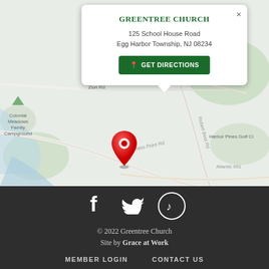[Figure (map): Google Maps screenshot showing location near Egg Harbor Township, NJ with labels for Colonial Meadows Family Campground, Zion Rd, Somers Point Rd, Robert Best Rd, Atlantic 651, Harbor Pines Golf Club, McCullough's Emerald Golf Links. A red location pin marks Greentree Church at 125 School House Road.]
GREENTREE CHURCH
125 School House Road
Egg Harbor Township, NJ 08234
GET DIRECTIONS
© 2022 Greentree Church
Site by Grace at Work
MEMBER LOGIN    CONTACT US